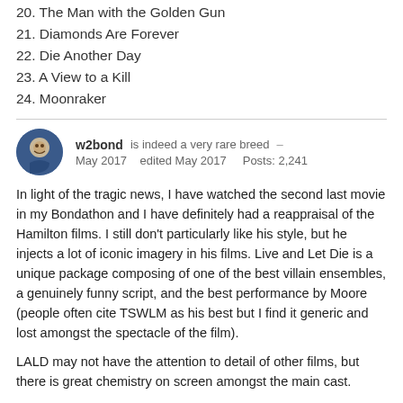20. The Man with the Golden Gun
21. Diamonds Are Forever
22. Die Another Day
23. A View to a Kill
24. Moonraker
w2bond    is indeed a very rare breed  –
May 2017    edited May 2017    Posts: 2,241
In light of the tragic news, I have watched the second last movie in my Bondathon and I have definitely had a reappraisal of the Hamilton films. I still don't particularly like his style, but he injects a lot of iconic imagery in his films. Live and Let Die is a unique package composing of one of the best villain ensembles, a genuinely funny script, and the best performance by Moore (people often cite TSWLM as his best but I find it generic and lost amongst the spectacle of the film).
LALD may not have the attention to detail of other films, but there is great chemistry on screen amongst the main cast.